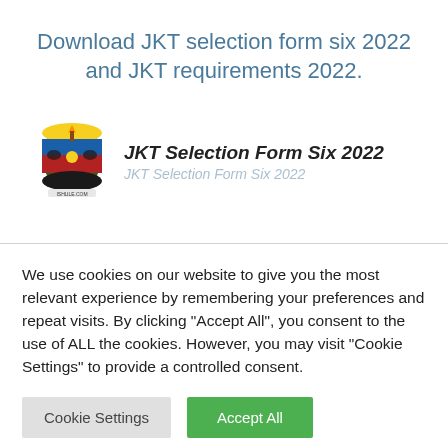Download JKT selection form six 2022 and JKT requirements 2022.
[Figure (logo): Tanzania coat of arms / Ishule.com logo emblem]
JKT Selection Form Six 2022
JKT Selection Form Six 2022
We use cookies on our website to give you the most relevant experience by remembering your preferences and repeat visits. By clicking “Accept All”, you consent to the use of ALL the cookies. However, you may visit "Cookie Settings" to provide a controlled consent.